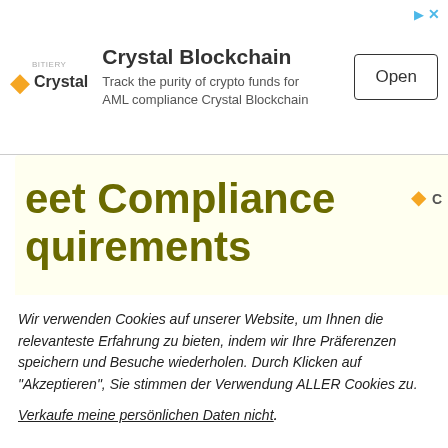[Figure (screenshot): Crystal Blockchain advertisement banner with logo, tagline 'Track the purity of crypto funds for AML compliance Crystal Blockchain', and an 'Open' button]
eet Compliance quirements
[Figure (photo): Partial photo of a classical building facade (columns and cornice), sepia/grayscale toned]
Wir verwenden Cookies auf unserer Website, um Ihnen die relevanteste Erfahrung zu bieten, indem wir Ihre Präferenzen speichern und Besuche wiederholen. Durch Klicken auf "Akzeptieren", Sie stimmen der Verwendung ALLER Cookies zu.
Verkaufe meine persönlichen Daten nicht.
Cookie-Einstellungen   Annehmen